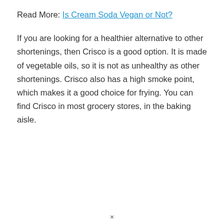Read More: Is Cream Soda Vegan or Not?
If you are looking for a healthier alternative to other shortenings, then Crisco is a good option. It is made of vegetable oils, so it is not as unhealthy as other shortenings. Crisco also has a high smoke point, which makes it a good choice for frying. You can find Crisco in most grocery stores, in the baking aisle.